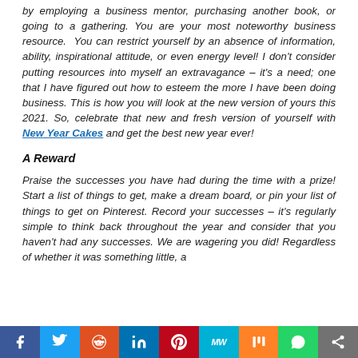by employing a business mentor, purchasing another book, or going to a gathering. You are your most noteworthy business resource. You can restrict yourself by an absence of information, ability, inspirational attitude, or even energy level! I don't consider putting resources into myself an extravagance – it's a need; one that I have figured out how to esteem the more I have been doing business. This is how you will look at the new version of yours this 2021. So, celebrate that new and fresh version of yourself with New Year Cakes and get the best new year ever!
A Reward
Praise the successes you have had during the time with a prize! Start a list of things to get, make a dream board, or pin your list of things to get on Pinterest. Record your successes – it's regularly simple to think back throughout the year and consider that you haven't had any successes. We are wagering you did! Regardless of whether it was something little, a
[Figure (other): Social media sharing bar with icons for Facebook, Twitter, Reddit, LinkedIn, Pinterest, MeWe, Mix, WhatsApp, and Share]